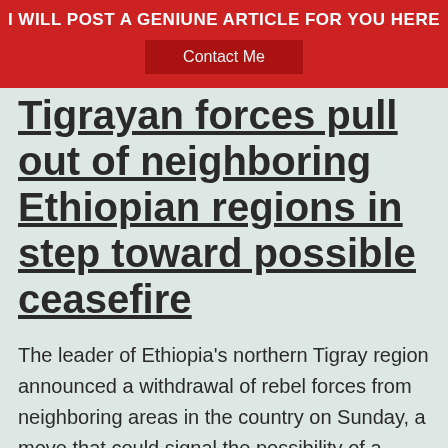I WILL POST A GENIUNE ARTICLE FOR YOU HERE
Contact Me
Tigrayan forces pull out of neighboring Ethiopian regions in step toward possible ceasefire
The leader of Ethiopia's northern Tigray region announced a withdrawal of rebel forces from neighboring areas in the country on Sunday, a move that could signal the possibility of a ceasefire after 13 months of war.